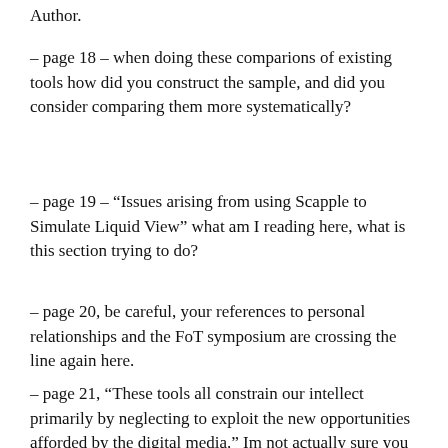Author.
– page 18 – when doing these comparions of existing tools how did you construct the sample, and did you consider comparing them more systematically?
– page 19 – “Issues arising from using Scapple to Simulate Liquid View” what am I reading here, what is this section trying to do?
– page 20, be careful, your references to personal relationships and the FoT symposium are crossing the line again here.
– page 21, “These tools all constrain our intellect primarily by neglecting to exploit the new opportunities afforded by the digital media.” Im not actually sure you have explained clearly what these